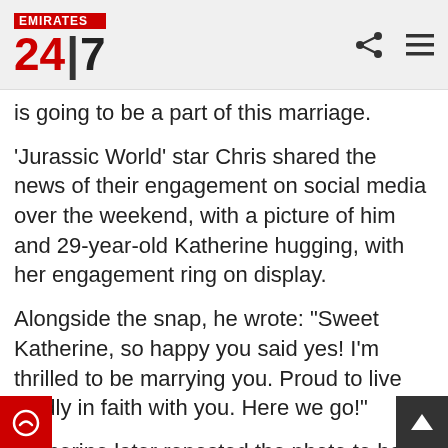EMIRATES 24|7
is going to be a part of this marriage.
'Jurassic World' star Chris shared the news of their engagement on social media over the weekend, with a picture of him and 29-year-old Katherine hugging, with her engagement ring on display.
Alongside the snap, he wrote: "Sweet Katherine, so happy you said yes! I'm thrilled to be marrying you. Proud to live boldly in faith with you. Here we go!"
Katherine later reposted the photo to her own Instagram, adding: "My sweet love. Wouldn't want to live this life with anyone but you."